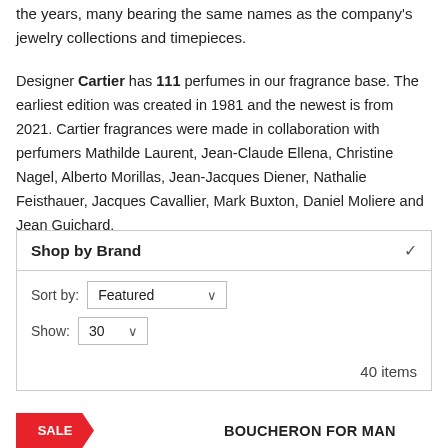the years, many bearing the same names as the company's jewelry collections and timepieces.
Designer Cartier has 111 perfumes in our fragrance base. The earliest edition was created in 1981 and the newest is from 2021. Cartier fragrances were made in collaboration with perfumers Mathilde Laurent, Jean-Claude Ellena, Christine Nagel, Alberto Morillas, Jean-Jacques Diener, Nathalie Feisthauer, Jacques Cavallier, Mark Buxton, Daniel Moliere and Jean Guichard.
Shop by Brand
Sort by: Featured
Show: 30
40 items
BOUCHERON FOR MAN